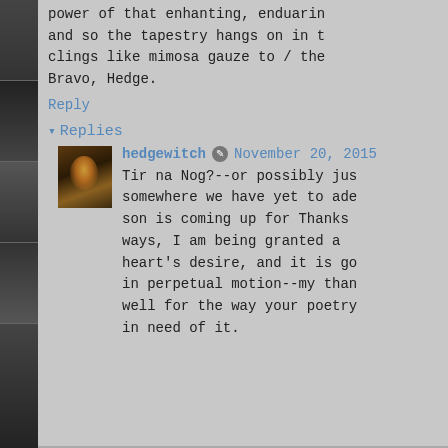power of that enhanting, enduarin and so the tapestry hangs on in t clings like mimosa gauze to / the Bravo, Hedge.
Reply
▾ Replies
[Figure (photo): Small avatar photo showing a figure with warm golden/orange glow against a dark background]
hedgewitch ✎ November 20, 2015
Tir na Nog?--or possibly jus somewhere we have yet to ade son is coming up for Thanks ways, I am being granted a heart's desire, and it is go in perpetual motion--my than well for the way your poetry in need of it.